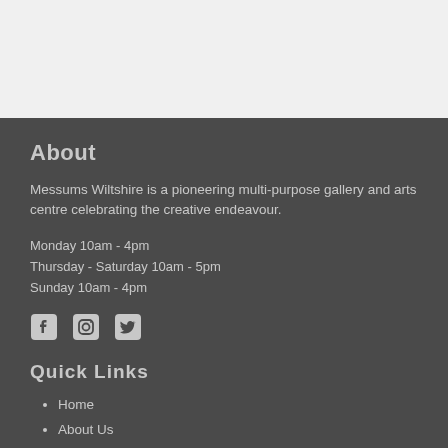About
Messums Wiltshire is a pioneering multi-purpose gallery and arts centre celebrating the creative endeavour.
Monday 10am - 4pm
Thursday - Saturday 10am - 5pm
Sunday 10am - 4pm
[Figure (illustration): Social media icons: Facebook, Instagram, Twitter]
Quick Links
Home
About Us
Blog
Newsletter